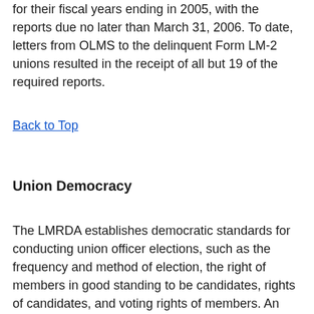for their fiscal years ending in 2005, with the reports due no later than March 31, 2006. To date, letters from OLMS to the delinquent Form LM-2 unions resulted in the receipt of all but 19 of the required reports.
Back to Top
Union Democracy
The LMRDA establishes democratic standards for conducting union officer elections, such as the frequency and method of election, the right of members in good standing to be candidates, rights of candidates, and voting rights of members. An investigation will be conducted if OLMS receives a timely filed complaint from a union member alleging that the LMRDA has been violated. If the